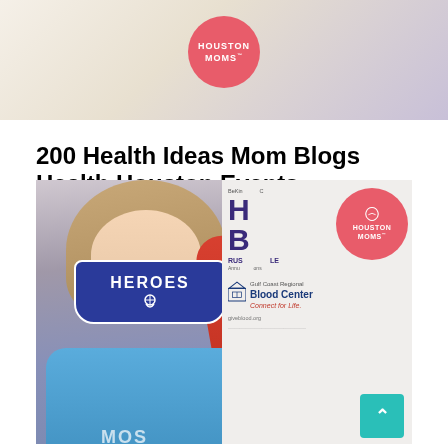[Figure (photo): Banner image with Houston Moms logo (pink circle with white text) on a light beige/lavender gradient background]
200 Health Ideas Mom Blogs Health Houston Events
[Figure (photo): A woman wearing a blue face mask that reads 'HEROES' with Houston Moms logo, wearing a light blue shirt, raising her fist in the air. In the background is a Houston Moms Blood Drive banner and a Gulf Coast Regional Blood Center sign that reads 'Connect for Life.' at giveblood.org]